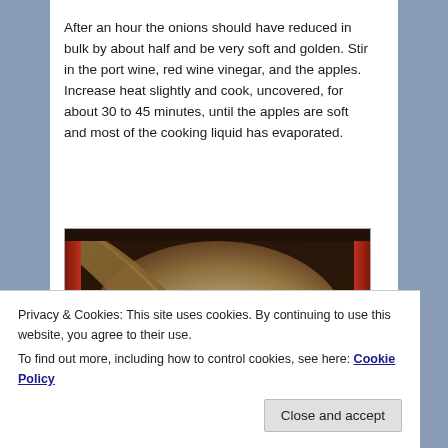After an hour the onions should have reduced in bulk by about half and be very soft and golden. Stir in the port wine, red wine vinegar, and the apples. Increase heat slightly and cook, uncovered, for about 30 to 45 minutes, until the apples are soft and most of the cooking liquid has evaporated.
[Figure (photo): A cooking pan viewed from above with softened onions and apples being stirred with a large wooden spoon. The mixture appears golden and softened. The pan has a white/cream interior with a red or dark exterior.]
Privacy & Cookies: This site uses cookies. By continuing to use this website, you agree to their use. To find out more, including how to control cookies, see here: Cookie Policy